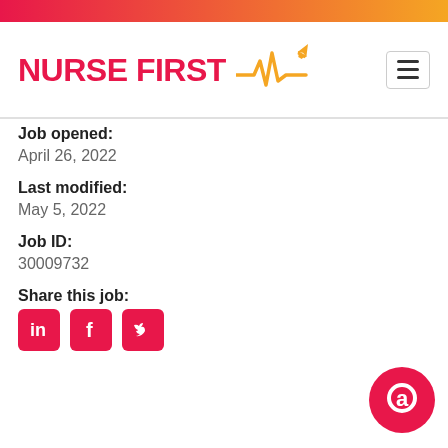[Figure (logo): Nurse First logo with heartbeat line and airplane icon, gradient red to orange top bar]
Job opened:
April 26, 2022
Last modified:
May 5, 2022
Job ID:
30009732
Share this job:
[Figure (infographic): LinkedIn, Facebook, and Twitter share icons in red squares, and a pink chat bubble widget in bottom right]
[Figure (illustration): Pink chat/support bubble icon in bottom right corner]